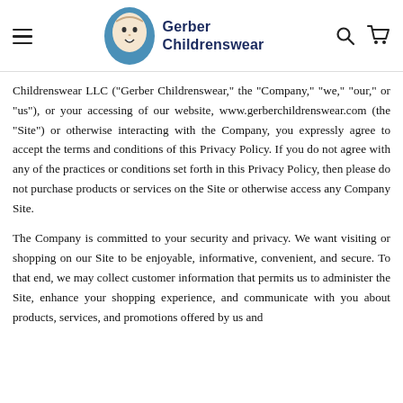Gerber Childrenswear
Childrenswear LLC ("Gerber Childrenswear," the "Company," "we," "our," or "us"), or your accessing of our website, www.gerberchildrenswear.com (the "Site") or otherwise interacting with the Company, you expressly agree to accept the terms and conditions of this Privacy Policy. If you do not agree with any of the practices or conditions set forth in this Privacy Policy, then please do not purchase products or services on the Site or otherwise access any Company Site.
The Company is committed to your security and privacy. We want visiting or shopping on our Site to be enjoyable, informative, convenient, and secure. To that end, we may collect customer information that permits us to administer the Site, enhance your shopping experience, and communicate with you about products, services, and promotions offered by us and